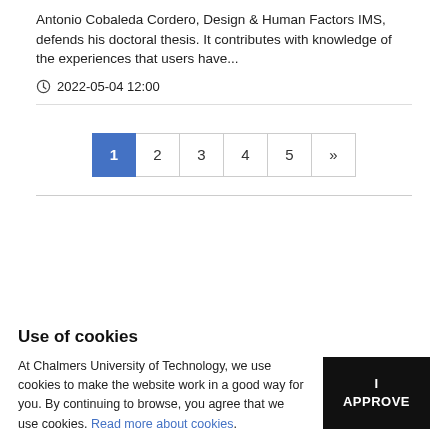Antonio Cobaleda Cordero, Design & Human Factors IMS, defends his doctoral thesis. It contributes with knowledge of the experiences that users have...
2022-05-04 12:00
1 2 3 4 5 »
Use of cookies
At Chalmers University of Technology, we use cookies to make the website work in a good way for you. By continuing to browse, you agree that we use cookies. Read more about cookies.
I APPROVE